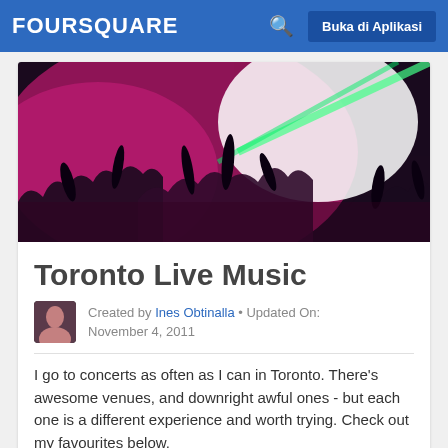FOURSQUARE  Buka di Aplikasi
[Figure (photo): Concert venue photo showing crowd with raised hands under pink and white stage lighting with green laser beams]
Toronto Live Music
Created by Ines Obtinalla • Updated On: November 4, 2011
I go to concerts as often as I can in Toronto. There's awesome venues, and downright awful ones - but each one is a different experience and worth trying. Check out my favourites below.